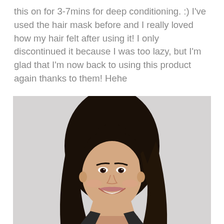this on for 3-7mins for deep conditioning. :) I've used the hair mask before and I really loved how my hair felt after using it! I only discontinued it because I was too lazy, but I'm glad that I'm now back to using this product again thanks to them! Hehe
[Figure (photo): A young East Asian woman with long dark hair smiling broadly, photographed against a light grey/white background.]